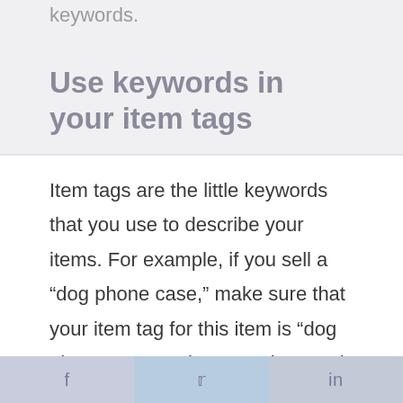keywords.
Use keywords in your item tags
Item tags are the little keywords that you use to describe your items. For example, if you sell a “dog phone case,” make sure that your item tag for this item is “dog phone case.” When people search on Etsy, they click on tags to find
f  •  t  •  in